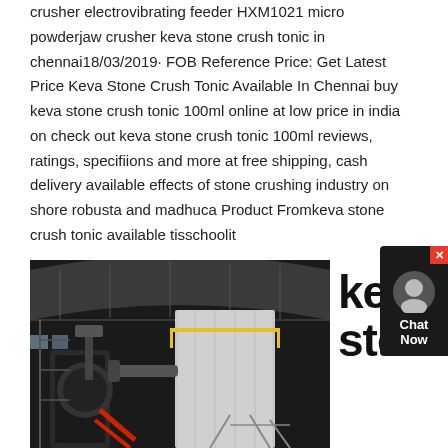crusher electrovibrating feeder HXM1021 micro powderjaw crusher keva stone crush tonic in chennai18/03/2019· FOB Reference Price: Get Latest Price Keva Stone Crush Tonic Available In Chennai buy keva stone crush tonic 100ml online at low price in india on check out keva stone crush tonic 100ml reviews, ratings, specifiions and more at free shipping, cash delivery available effects of stone crushing industry on shore robusta and madhuca Product Fromkeva stone crush tonic available tisschoolit
[Figure (photo): Interior of an industrial factory or plant building showing heavy machinery, a large cylindrical silo or tank, yellow safety railings, and industrial equipment under a curved metal roof.]
keva stone